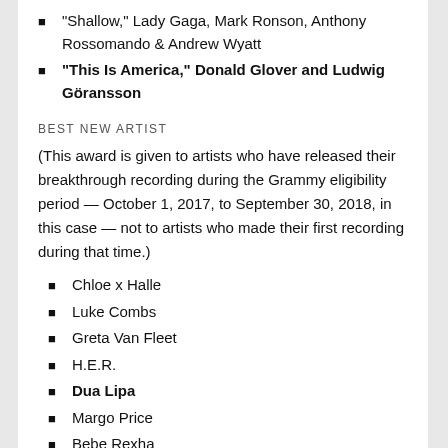“Shallow,” Lady Gaga, Mark Ronson, Anthony Rossomando & Andrew Wyatt
“This Is America,” Donald Glover and Ludwig Göransson
BEST NEW ARTIST
(This award is given to artists who have released their breakthrough recording during the Grammy eligibility period — October 1, 2017, to September 30, 2018, in this case — not to artists who made their first recording during that time.)
Chloe x Halle
Luke Combs
Greta Van Fleet
H.E.R.
Dua Lipa
Margo Price
Bebe Rexha
Jorja Smith